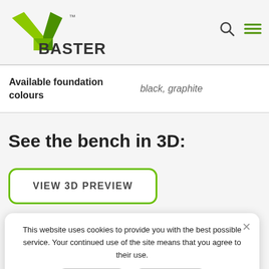Baster (logo)
| Property | Value |
| --- | --- |
| Available foundation colours | black, graphite |
See the bench in 3D:
VIEW 3D PREVIEW
This website uses cookies to provide you with the best possible service. Your continued use of the site means that you agree to their use.
AGREE    PRIVACY
[Figure (other): QR code partially visible at the bottom of the page]